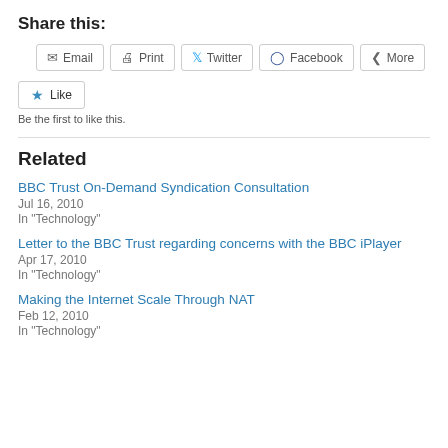Share this:
[Figure (other): Social sharing buttons: Email, Print, Twitter, Facebook, More]
[Figure (other): Like button with star icon]
Be the first to like this.
Related
BBC Trust On-Demand Syndication Consultation
Jul 16, 2010
In "Technology"
Letter to the BBC Trust regarding concerns with the BBC iPlayer
Apr 17, 2010
In "Technology"
Making the Internet Scale Through NAT
Feb 12, 2010
In "Technology"